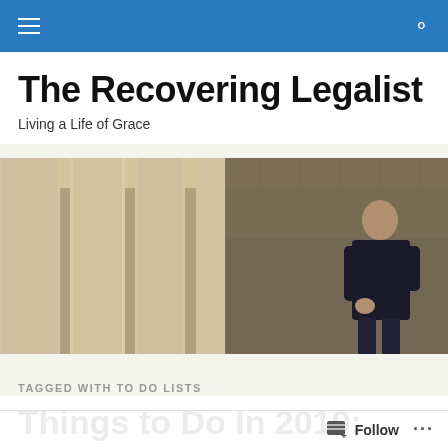Navigation bar with hamburger menu and search icon
The Recovering Legalist
Living a Life of Grace
[Figure (photo): A bald man in a dark blazer standing among large stone columns of a classical building, looking upward to the left.]
TAGGED WITH TO DO LISTS
Things to Do In 2019: More Mercy, Compassion, and...
Follow